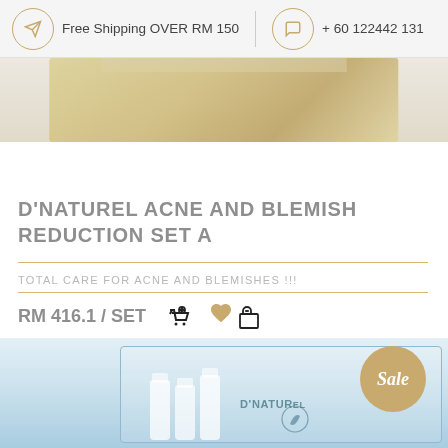Free Shipping OVER RM 150   + 60 122442 131
[Figure (photo): Product image strip at top of page showing golden/cream colored product background]
D'NATUREL ACNE AND BLEMISH REDUCTION SET A
TOTAL CARE FOR ACNE AND BLEMISHES !!!
RM 416.1 / SET
[Figure (illustration): Row of certification badges: natural ingredients badge, Made with Love badge, Safe to Use badge, No Paraben badge, Vegan badge]
[Figure (photo): D'Naturel product box set with bottles, shown with a gold Sale badge in the bottom section of the page]